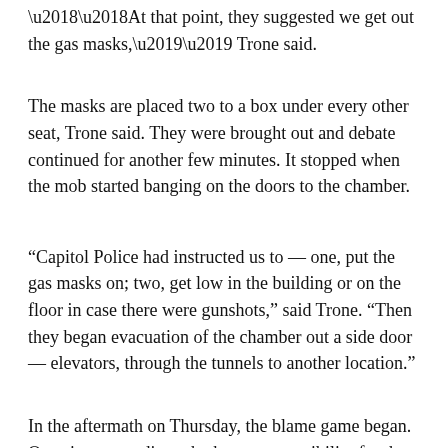‘‘At that point, they suggested we get out the gas masks,’’ Trone said.
The masks are placed two to a box under every other seat, Trone said. They were brought out and debate continued for another few minutes. It stopped when the mob started banging on the doors to the chamber.
‘‘Capitol Police had instructed us to — one, put the gas masks on; two, get low in the building or on the floor in case there were gunshots,’’ said Trone. ‘‘Then they began evacuation of the chamber out a side door — elevators, through the tunnels to another location.’’
In the aftermath on Thursday, the blame game began. Questions regarding who bears responsibility for the security breach spread through Washington.